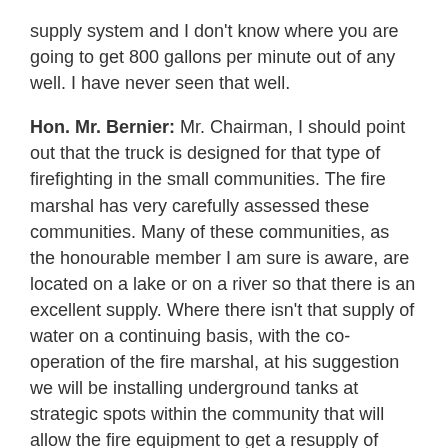supply system and I don't know where you are going to get 800 gallons per minute out of any well. I have never seen that well.
Hon. Mr. Bernier: Mr. Chairman, I should point out that the truck is designed for that type of firefighting in the small communities. The fire marshal has very carefully assessed these communities. Many of these communities, as the honourable member I am sure is aware, are located on a lake or on a river so that there is an excellent supply. Where there isn't that supply of water on a continuing basis, with the co-operation of the fire marshal, at his suggestion we will be installing underground tanks at strategic spots within the community that will allow the fire equipment to get a resupply of water in case of a disaster.
I can assure you those matters are being looked at and are very much in consideration when a fire truck is put into communities. It's useless, as you correctly point out, to put in a fire truck with only 800 gallons of water; there has to